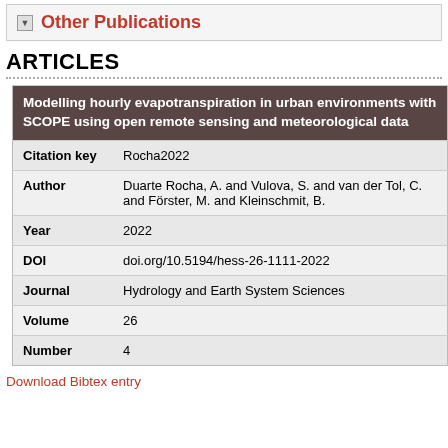Other Publications
ARTICLES
| Field | Value |
| --- | --- |
|  | Modelling hourly evapotranspiration in urban environments with SCOPE using open remote sensing and meteorological data |
| Citation key | Rocha2022 |
| Author | Duarte Rocha, A. and Vulova, S. and van der Tol, C. and Förster, M. and Kleinschmit, B. |
| Year | 2022 |
| DOI | doi.org/10.5194/hess-26-1111-2022 |
| Journal | Hydrology and Earth System Sciences |
| Volume | 26 |
| Number | 4 |
Download Bibtex entry